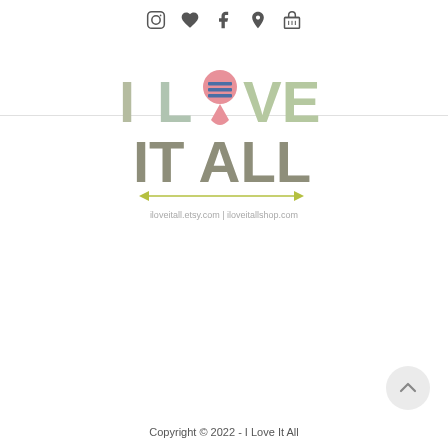Social media icons: Instagram, Favorites, Facebook, Pinterest, Cart
[Figure (logo): I Love It All logo with colorful letters, map pin icon, arrow, and website URLs: iloveitall.etsy.com | iloveitallshop.com]
Copyright © 2022 - I Love It All